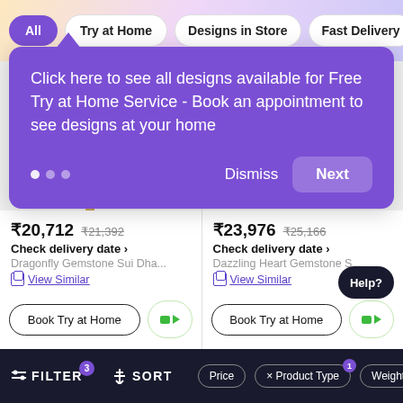All | Try at Home | Designs in Store | Fast Delivery
Click here to see all designs available for Free Try at Home Service - Book an appointment to see designs at your home
Dismiss | Next
[Figure (photo): Product image area for Dragonfly Gemstone Sui Dha earring (left card)]
₹20,712  ₹21,392
Check delivery date ›
Dragonfly Gemstone Sui Dha...
View Similar
Book Try at Home
[Figure (photo): Product image area for Dazzling Heart Gemstone earring (right card)]
₹23,976  ₹25,166
Check delivery date ›
Dazzling Heart Gemstone S...
View Similar
Book Try at Home
FILTER (3) | SORT | Price | × Product Type (1) | Weight R